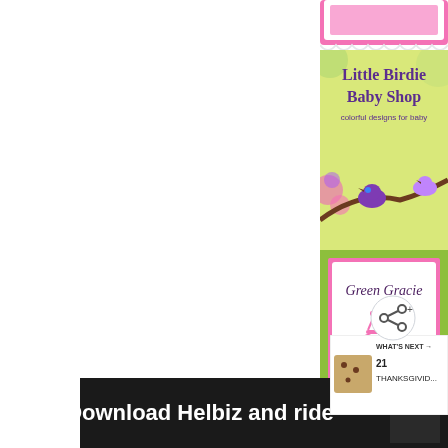[Figure (logo): Top portion of a decorative pink and white scalloped-edge banner/badge, partially cut off at top]
[Figure (illustration): Little Birdie Baby Shop advertisement banner — colorful illustrated birds on branches with flowers on yellow-green background, text reads 'Little Birdie Baby Shop colorful designs for baby']
[Figure (logo): Green Gracie Home — decorative logo with cursive text 'Green Gracie', a pink chandelier illustration, and 'Home' text below, surrounded by a green damask border with pink stripe frame]
[Figure (illustration): Circular wooden plaque with a teal/turquoise bird illustration sitting on text, partially visible at bottom]
[Figure (screenshot): Advertisement banner at bottom: 'Download Helbiz and ride' with a bicycle image and ad controls (play/pause, close buttons). A share button icon is visible on the right side. 'WHAT'S NEXT' panel shows '21 THANKSGIVID...' with a cookie thumbnail.]